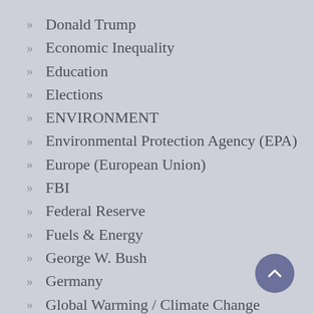Donald Trump
Economic Inequality
Education
Elections
ENVIRONMENT
Environmental Protection Agency (EPA)
Europe (European Union)
FBI
Federal Reserve
Fuels & Energy
George W. Bush
Germany
Global Warming / Climate Change
Government Institutions